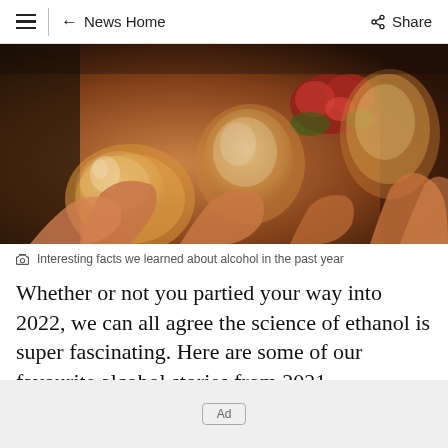≡  ← News Home   Share
[Figure (photo): Multiple hands holding wine glasses in a toast, with red roses visible in the background. Warm lighting, celebratory scene.]
Interesting facts we learned about alcohol in the past year
Whether or not you partied your way into 2022, we can all agree the science of ethanol is super fascinating. Here are some of our favourite alcohol stories from 2021.